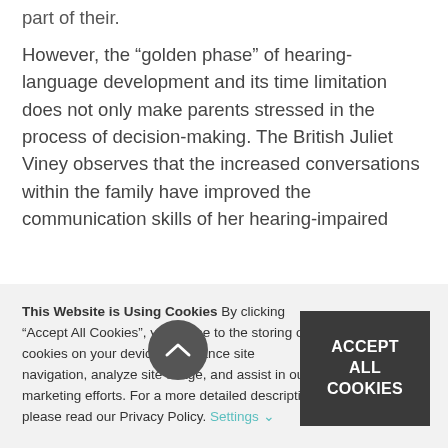part of their.
However, the “golden phase” of hearing-language development and its time limitation does not only make parents stressed in the process of decision-making. The British Juliet Viney observes that the increased conversations within the family have improved the communication skills of her hearing-impaired
This Website is Using Cookies By clicking “Accept All Cookies”, you agree to the storing of cookies on your device to enhance site navigation, analyze site usage, and assist in our marketing efforts. For a more detailed description please read our Privacy Policy. Settings ⌄
ACCEPT ALL COOKIES